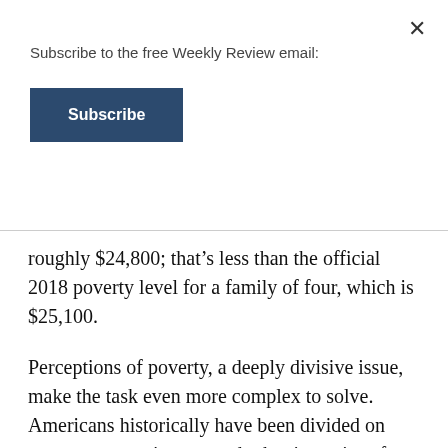Subscribe to the free Weekly Review email:
Subscribe
roughly $24,800; that’s less than the official 2018 poverty level for a family of four, which is $25,100.
Perceptions of poverty, a deeply divisive issue, make the task even more complex to solve. Americans historically have been divided on government assistance and other incentives for the poor. Some believe these programs don’t do enough while others believe the poor have become reliant on public-sector help.
Opportunity Agenda, a social justice communication